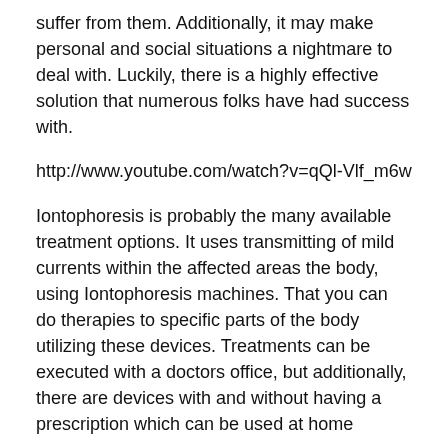suffer from them. Additionally, it may make personal and social situations a nightmare to deal with. Luckily, there is a highly effective solution that numerous folks have had success with.
http://www.youtube.com/watch?v=qQl-Vlf_m6w
Iontophoresis is probably the many available treatment options. It uses transmitting of mild currents within the affected areas the body, using Iontophoresis machines. That you can do therapies to specific parts of the body utilizing these devices. Treatments can be executed with a doctors office, but additionally, there are devices with and without having a prescription which can be used at home
You will find multiple machines available in the market. Their asking prices vary from low battery powered anyone to high prescription So with all of these different